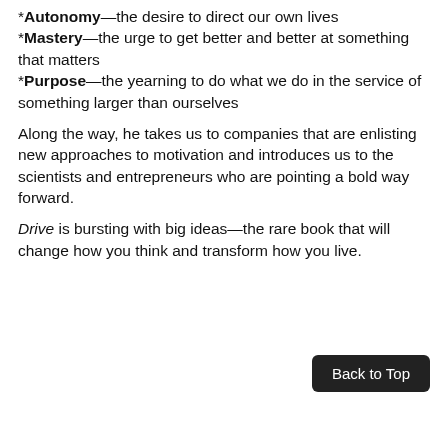*Autonomy—the desire to direct our own lives
*Mastery—the urge to get better and better at something that matters
*Purpose—the yearning to do what we do in the service of something larger than ourselves
Along the way, he takes us to companies that are enlisting new approaches to motivation and introduces us to the scientists and entrepreneurs who are pointing a bold way forward.
Drive is bursting with big ideas—the rare book that will change how you think and transform how you live.